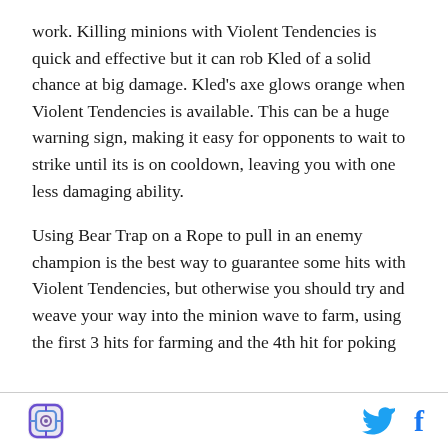work. Killing minions with Violent Tendencies is quick and effective but it can rob Kled of a solid chance at big damage. Kled's axe glows orange when Violent Tendencies is available. This can be a huge warning sign, making it easy for opponents to wait to strike until its is on cooldown, leaving you with one less damaging ability.
Using Bear Trap on a Rope to pull in an enemy champion is the best way to guarantee some hits with Violent Tendencies, but otherwise you should try and weave your way into the minion wave to farm, using the first 3 hits for farming and the 4th hit for poking
[logo icon] [twitter icon] [facebook icon]